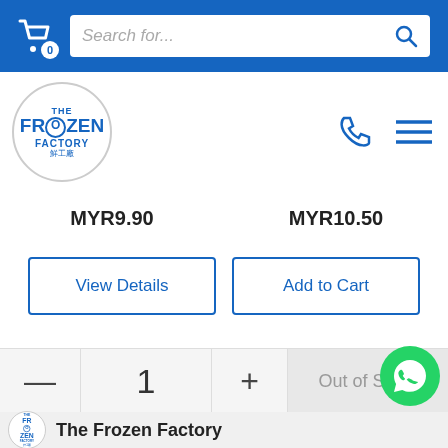[Figure (screenshot): E-commerce website header with shopping cart icon and search bar on blue background]
[Figure (logo): The Frozen Factory logo in a circle]
MYR9.90
MYR10.50
View Details
Add to Cart
—
1
+
Out of Stock
[Figure (logo): WhatsApp green phone icon button]
[Figure (logo): The Frozen Factory logo circle at bottom]
The Frozen Factory